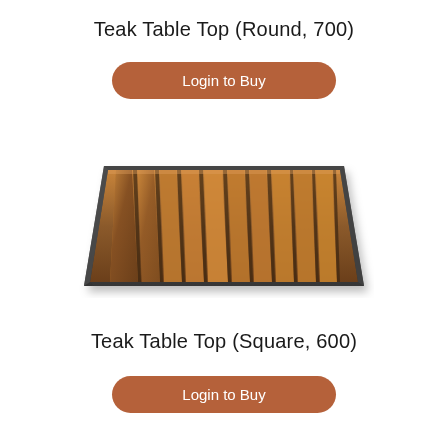Teak Table Top (Round, 700)
Login to Buy
[Figure (photo): A rectangular teak table top with wooden slats and dark metal edging, photographed at an angle showing the slatted surface texture in warm brown tones.]
Teak Table Top (Square, 600)
Login to Buy